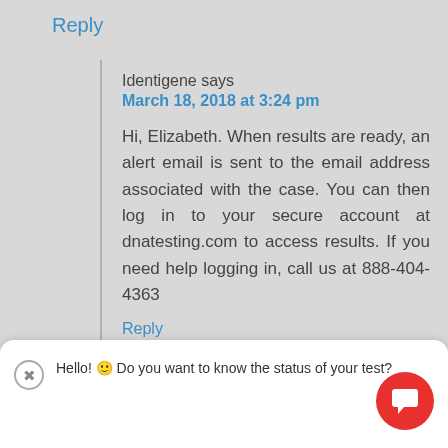Reply
Identigene says
March 18, 2018 at 3:24 pm

Hi, Elizabeth. When results are ready, an alert email is sent to the email address associated with the case. You can then log in to your secure account at dnatesting.com to access results. If you need help logging in, call us at 888-404-4363
Hello! 🙂 Do you want to know the status of your test?
Reply